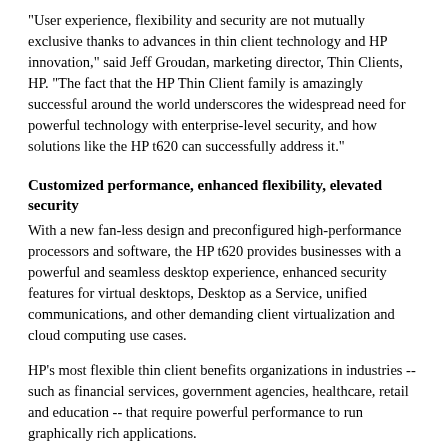"User experience, flexibility and security are not mutually exclusive thanks to advances in thin client technology and HP innovation," said Jeff Groudan, marketing director, Thin Clients, HP. "The fact that the HP Thin Client family is amazingly successful around the world underscores the widespread need for powerful technology with enterprise-level security, and how solutions like the HP t620 can successfully address it."
Customized performance, enhanced flexibility, elevated security
With a new fan-less design and preconfigured high-performance processors and software, the HP t620 provides businesses with a powerful and seamless desktop experience, enhanced security features for virtual desktops, Desktop as a Service, unified communications, and other demanding client virtualization and cloud computing use cases.
HP's most flexible thin client benefits organizations in industries -- such as financial services, government agencies, healthcare, retail and education -- that require powerful performance to run graphically rich applications.
Enhanced features on the HP t620 include:
Powerful processing with AMD processors. The combination of an AMD GX dual- or quad-core and AMD Radeon HD graphics...